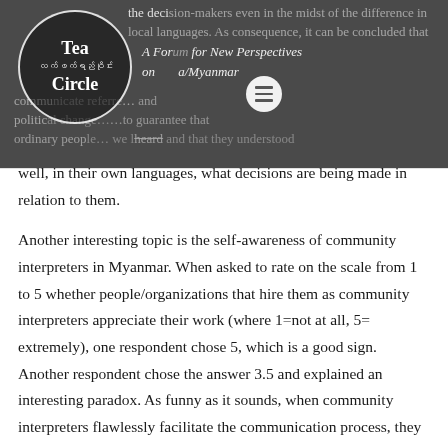[Figure (illustration): Tea Circle logo and website header banner with dark background showing partial article text. Logo is a circular badge with 'Tea Circle' in English and Myanmar script, subtitle 'A Forum for New Perspectives on Burma/Myanmar'. A hamburger menu icon appears to the right of the logo.]
well, in their own languages, what decisions are being made in relation to them.
Another interesting topic is the self-awareness of community interpreters in Myanmar. When asked to rate on the scale from 1 to 5 whether people/organizations that hire them as community interpreters appreciate their work (where 1=not at all, 5= extremely), one respondent chose 5, which is a good sign. Another respondent chose the answer 3.5 and explained an interesting paradox. As funny as it sounds, when community interpreters flawlessly facilitate the communication process, they become almost invisible.